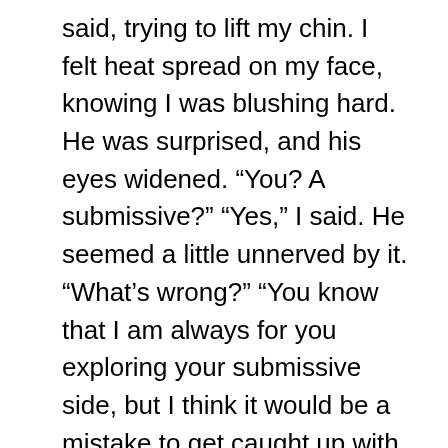said, trying to lift my chin. I felt heat spread on my face, knowing I was blushing hard. He was surprised, and his eyes widened. “You? A submissive?” “Yes,” I said. He seemed a little unnerved by it. “What’s wrong?” “You know that I am always for you exploring your submissive side, but I think it would be a mistake to get caught up with Master Shaw.” I saw he was concerned. “Why?” “He has his secrets, Ava. I am not in the right place to divulge them, and I am unsure if you